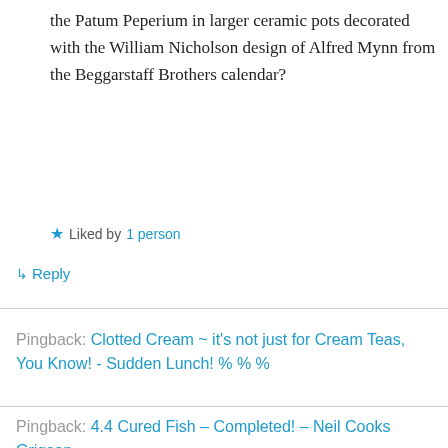the Patum Peperium in larger ceramic pots decorated with the William Nicholson design of Alfred Mynn from the Beggarstaff Brothers calendar?
★ Liked by 1 person
↪ Reply
Pingback: Clotted Cream ~ it's not just for Cream Teas, You Know! - Sudden Lunch! % % %
Pingback: 4.4 Cured Fish – Completed! – Neil Cooks Grigson
Advertisements
[Figure (photo): ULTA beauty advertisement banner showing makeup and beauty images with 'SHOP NOW' call to action]